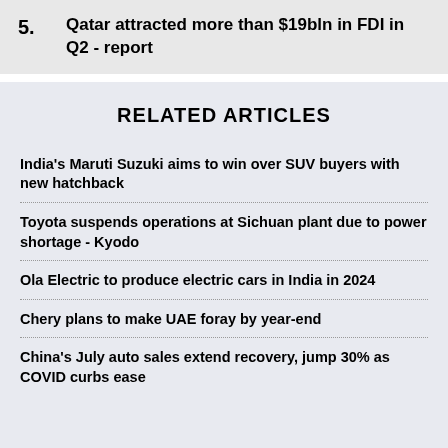5. Qatar attracted more than $19bln in FDI in Q2 - report
RELATED ARTICLES
India's Maruti Suzuki aims to win over SUV buyers with new hatchback
Toyota suspends operations at Sichuan plant due to power shortage - Kyodo
Ola Electric to produce electric cars in India in 2024
Chery plans to make UAE foray by year-end
China's July auto sales extend recovery, jump 30% as COVID curbs ease